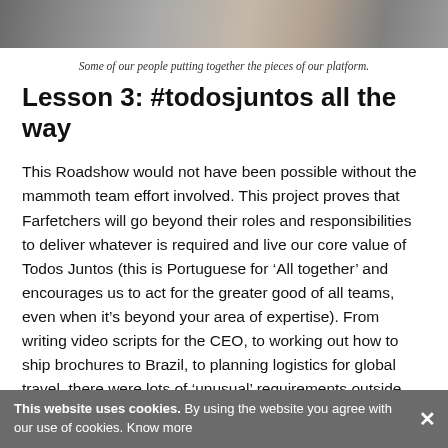[Figure (photo): Cropped image strip at the top showing people working, with blurred background tones of grey and brown]
Some of our people putting together the pieces of our platform.
Lesson 3: #todosjuntos all the way
This Roadshow would not have been possible without the mammoth team effort involved. This project proves that Farfetchers will go beyond their roles and responsibilities to deliver whatever is required and live our core value of Todos Juntos (this is Portuguese for ‘All together’ and encourages us to act for the greater good of all teams, even when it’s beyond your area of expertise). From writing video scripts for the CEO, to working out how to ship brochures to Brazil, to planning logistics for global travel, there were lots of ‘unusual’ requirements outside the team’s everyday scope of work and everyone rolled their sleeves up to do.
This website uses cookies. By using the website you agree with our use of cookies. Know more